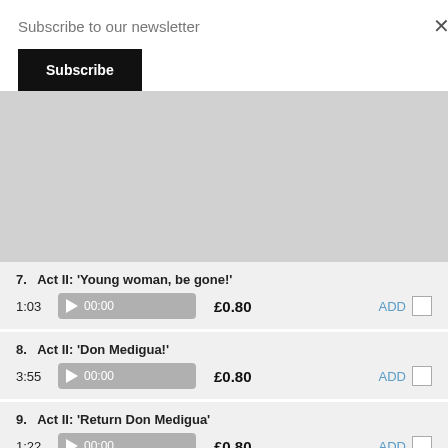Subscribe to our newsletter
Subscribe
7.  Act II: 'Young woman, be gone!'  1:03  00:00  £0.80  ADD
8.  Act II: 'Don Medigua!'  3:55  00:00  £0.80  ADD
9.  Act II: 'Return Don Medigua'  1:22  00:00  £0.80  ADD
10.  Act II: 'He cannot, must not'  7:18  00:00  £1.60  ADD
11.  Act II: 'Sweetheart, I'm waiting'  3:40  00:00  £0.80  ADD